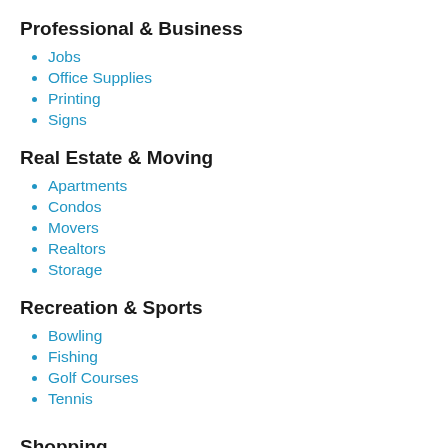Professional & Business
Jobs
Office Supplies
Printing
Signs
Real Estate & Moving
Apartments
Condos
Movers
Realtors
Storage
Recreation & Sports
Bowling
Fishing
Golf Courses
Tennis
Shopping